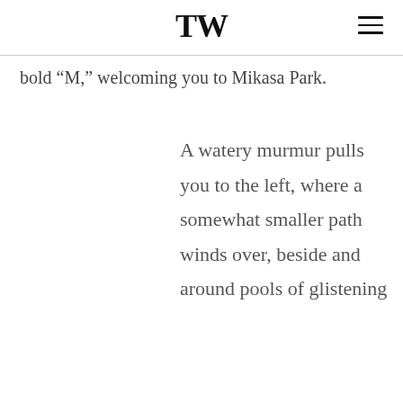TW
bold “M,” welcoming you to Mikasa Park.
A watery murmur pulls you to the left, where a somewhat smaller path winds over, beside and around pools of glistening